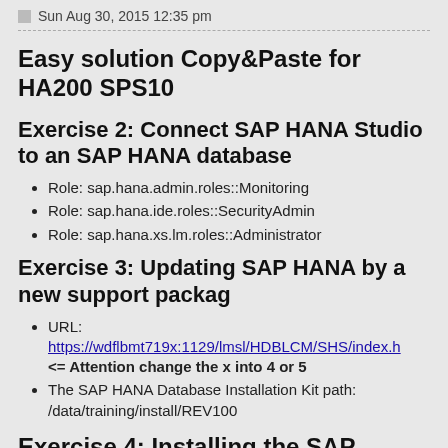Sun Aug 30, 2015 12:35 pm
Easy solution Copy&Paste for HA200 SPS10
Exercise 2: Connect SAP HANA Studio to an SAP HANA database
Role: sap.hana.admin.roles::Monitoring
Role: sap.hana.ide.roles::SecurityAdmin
Role: sap.hana.xs.lm.roles::Administrator
Exercise 3: Updating SAP HANA by a new support packag
URL: https://wdflbmt719x:1129/lmsl/HDBLCM/SHS/index.h
<= Attention change the x into 4 or 5
The SAP HANA Database Installation Kit path: /data/training/install/REV100
Exercise 4: Installing the SAP HANA